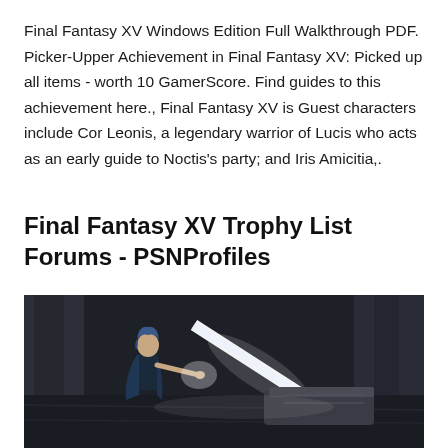Final Fantasy XV Windows Edition Full Walkthrough PDF. Picker-Upper Achievement in Final Fantasy XV: Picked up all items - worth 10 GamerScore. Find guides to this achievement here., Final Fantasy XV is Guest characters include Cor Leonis, a legendary warrior of Lucis who acts as an early guide to Noctis's party; and Iris Amicitia,.
Final Fantasy XV Trophy List Forums - PSNProfiles
[Figure (photo): Screenshot from Final Fantasy XV showing a character with blue hair reaching out toward a glowing white weapon or object, set in a dark stone dungeon environment.]